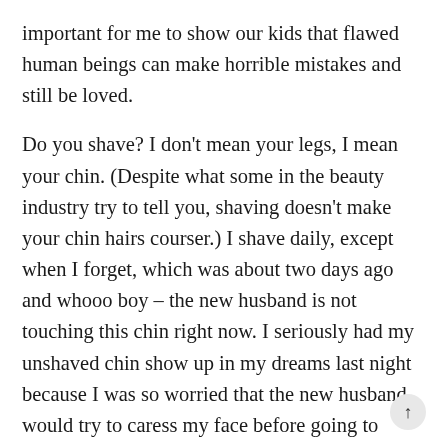important for me to show our kids that flawed human beings can make horrible mistakes and still be loved.
Do you shave? I don’t mean your legs, I mean your chin. (Despite what some in the beauty industry try to tell you, shaving doesn’t make your chin hairs courser.) I shave daily, except when I forget, which was about two days ago and whooo boy – the new husband is not touching this chin right now. I seriously had my unshaved chin show up in my dreams last night because I was so worried that the new husband would try to caress my face before going to sleep last night and I didn’t want him to be horrified by my bristly chin.